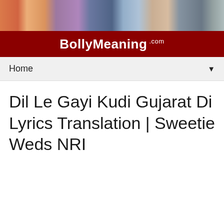[Figure (screenshot): Website header with movie poster banner strip showing colorful film imagery]
BollyMeaning .com
Home ▼
Dil Le Gayi Kudi Gujarat Di Lyrics Translation | Sweetie Weds NRI